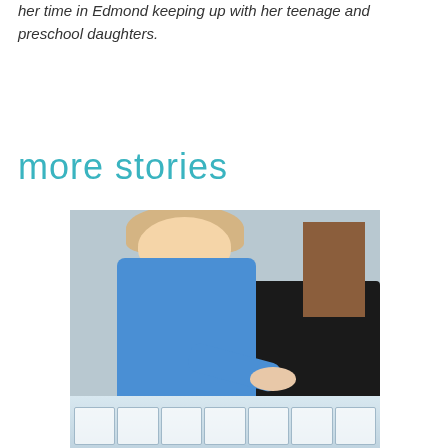Gayleen Haberkiri is a freelance writer who spends her time in Edmond keeping up with her teenage and preschool daughters.
more stories
[Figure (photo): A young blonde child wearing a blue shirt and disposable gloves working with plastic containers, likely volunteering or doing a food-related activity. Background shows dark furniture and a warm-lit room.]